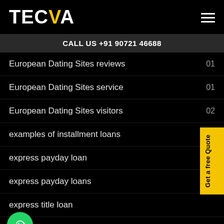TECVA
CALL US +91 90721 46688
European Dating Sites reviews  01
European Dating Sites service  01
European Dating Sites visitors  02
examples of installment loans
express payday loan
express payday loans
express title loan
express title loans  04
fabswingers cs review  01